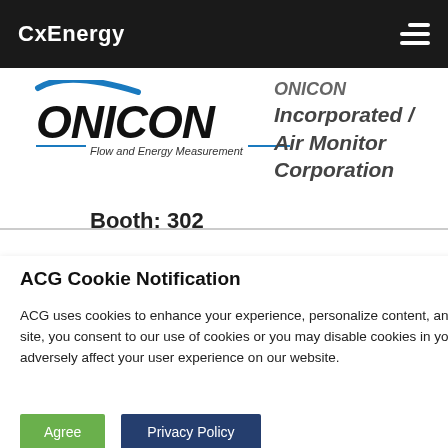CxEnergy
[Figure (logo): ONICON Incorporated / Air Monitor Corporation logo — ONICON in bold italic black lettering with blue swoosh accent, tagline 'Flow and Energy Measurement']
ONICON Incorporated / Air Monitor Corporation
Booth: 302
VAC utility tor are e highest v and We offer your ment
ACG Cookie Notification
ACG uses cookies to enhance your experience, personalize content, and analyze traffic. By continuing to use this site, you consent to our use of cookies or you may disable cookies in your browser. Disabling cookies may adversely affect your user experience on our website.
Agree
Privacy Policy